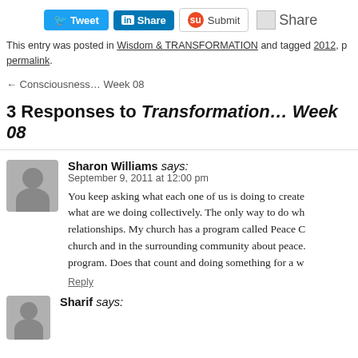[Figure (screenshot): Social sharing buttons row: Tweet (Twitter), Share (LinkedIn), Submit (StumbleUpon), Share]
This entry was posted in Wisdom & TRANSFORMATION and tagged 2012, permalink.
← Consciousness… Week 08
3 Responses to Transformation… Week 08
Sharon Williams says:
September 9, 2011 at 12:00 pm
You keep asking what each one of us is doing to create what are we doing collectively. The only way to do wh relationships. My church has a program called Peace C church and in the surrounding community about peace. program. Does that count and doing something for a w
Reply
Sharif says: